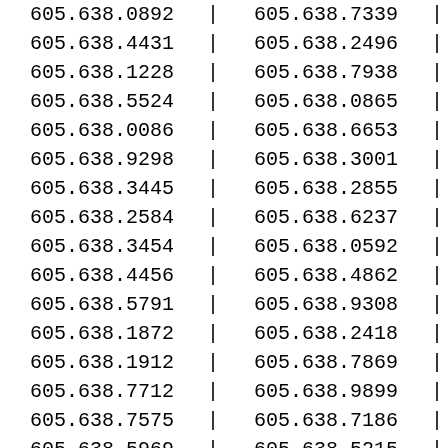| Column1 | Column2 |
| --- | --- |
| 605.638.0892 | 605.638.7339 |
| 605.638.4431 | 605.638.2496 |
| 605.638.1228 | 605.638.7938 |
| 605.638.5524 | 605.638.0865 |
| 605.638.0086 | 605.638.6653 |
| 605.638.9298 | 605.638.3001 |
| 605.638.3445 | 605.638.2855 |
| 605.638.2584 | 605.638.6237 |
| 605.638.3454 | 605.638.0592 |
| 605.638.4456 | 605.638.4862 |
| 605.638.5791 | 605.638.9308 |
| 605.638.1872 | 605.638.2418 |
| 605.638.1912 | 605.638.7869 |
| 605.638.7712 | 605.638.9899 |
| 605.638.7575 | 605.638.7186 |
| 605.638.5969 | 605.638.5215 |
| 605.638.1665 | 605.638.3277 |
| 605.638.7816 | 605.638.1605 |